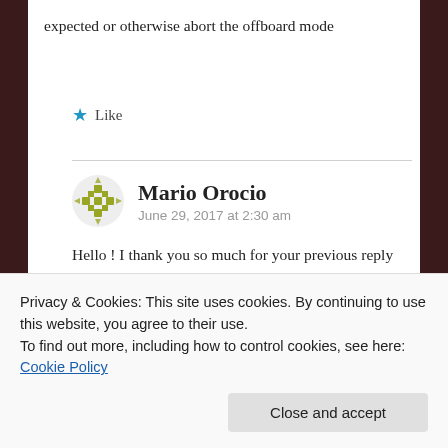expected or otherwise abort the offboard mode
★ Like
Mario Orocio
June 29, 2017 at 2:30 am

Hello ! I thank you so much for your previous reply

I have two last questions:
Privacy & Cookies: This site uses cookies. By continuing to use this website, you agree to their use.
To find out more, including how to control cookies, see here: Cookie Policy
Close and accept